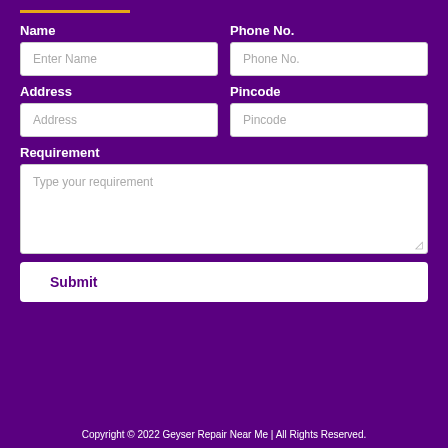Name
Phone No.
Enter Name
Phone No.
Address
Pincode
Address
Pincode
Requirement
Type your requirement
Submit
Copyright © 2022 Geyser Repair Near Me | All Rights Reserved.